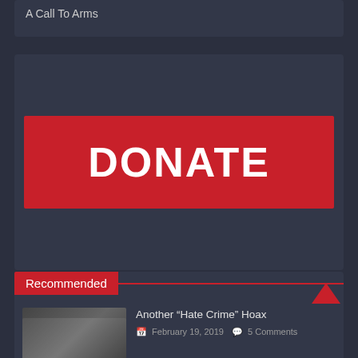A Call To Arms
[Figure (other): Red DONATE button on dark card background]
Recommended
Another “Hate Crime” Hoax
February 19, 2019   5 Comments